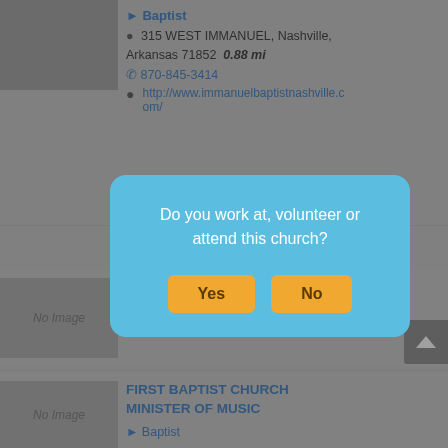Baptist
315 WEST IMMANUEL, Nashville, Arkansas 71852  0.88 mi
870-845-3414
http://www.immanuelbaptistnashville.com/
[Figure (screenshot): No Image placeholder box]
Nashville, Arkansas 71852  0.96 mi
870-845-1404
FIRST BAPTIST CHURCH MINISTER OF MUSIC
Baptist
[Figure (other): Modal dialog asking 'Do you work at, volunteer or attend this church?' with Yes and No buttons]